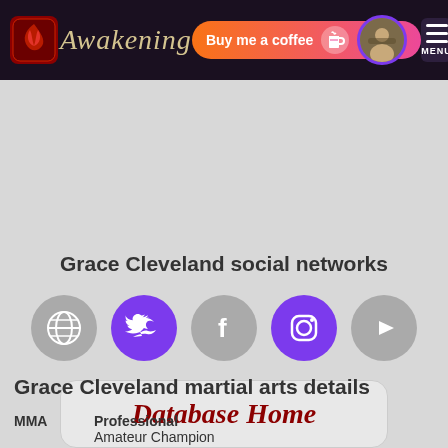Awakening — Buy me a coffee — MENU
Grace Cleveland social networks
[Figure (other): Row of 5 social media icon circles: website (globe), Twitter (bird), Facebook (f), Instagram (camera), YouTube (play). Twitter and Instagram are purple; others grey.]
Database Home
Grace Cleveland martial arts details
MMA    Professional
       Amateur Champion